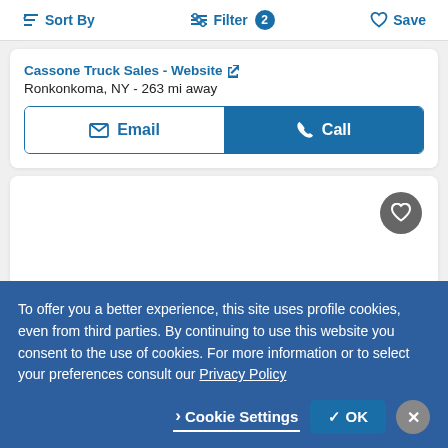Sort By  Filter 2  Save
Cassone Truck Sales - Website
Ronkonkoma, NY - 263 mi away
Email  Call
[Figure (screenshot): Empty white card with a gray heart/favorite circle button in the top right corner]
To offer you a better experience, this site uses profile cookies, even from third parties. By continuing to use this website you consent to the use of cookies. For more information or to select your preferences consult our Privacy Policy
Cookie Settings  OK  ✕